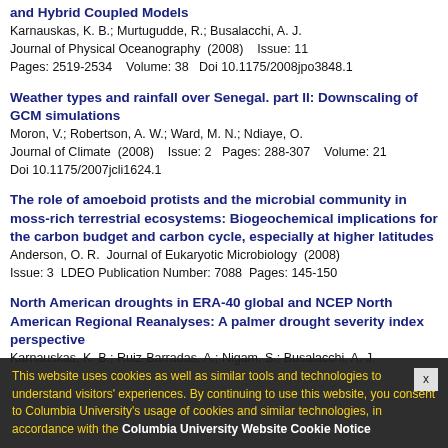and Hybrid Coupled Models
Karnauskas, K. B.; Murtugudde, R.; Busalacchi, A. J.
Journal of Physical Oceanography (2008)  Issue: 11
Pages: 2519-2534  Volume: 38  Doi 10.1175/2008jpo3848.1
Weather types and rainfall over Senegal. part II: Downscaling of GCM simulations
Moron, V.; Robertson, A. W.; Ward, M. N.; Ndiaye, O.
Journal of Climate (2008)  Issue: 2  Pages: 288-307  Volume: 21
Doi 10.1175/2007jcli1624.1
The role of amoeboid protists and the microbial community in moss-rich terrestrial ecosystems: Biogeochemical implications for the carbon budget and carbon cycle, especially at higher latitudes
Anderson, O. R.  Journal of Eukaryotic Microbiology (2008)
Issue: 3  LDEO Publication Number: 7088  Pages: 145-150
North American droughts in ERA-40 global and NCEP North American Regional Reanalyses: A palmer drought severity index perspective
Karnauskas, K. B.; Ruiz-Barradas, A.; Nigam, S.; Busalacchi, A. J.
This website uses cookies as well as similar tools and technologies to understand visitors' experiences. By continuing to use this website, you consent to Columbia University's usage of cookies and similar technologies, in accordance with the Columbia University Website Cookie Notice